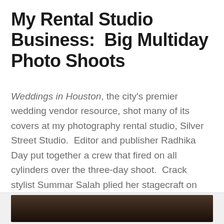My Rental Studio Business:  Big Multiday Photo Shoots
Weddings in Houston, the city's premier wedding vendor resource, shot many of its covers at my photography rental studio, Silver Street Studio.  Editor and publisher Radhika Day put together a crew that fired on all cylinders over the three-day shoot.  Crack stylist Summar Salah plied her stagecraft on three different glittery sets and twelve wedding gown wardrobes.  Hair and makeup by The Perfect Face transformed the models into showstopping brides.  And photographer Larry Fagala captured all the drama with technical expertise.
[Figure (photo): Bottom portion of a photograph showing a dark interior scene, partially visible at the bottom of the page]